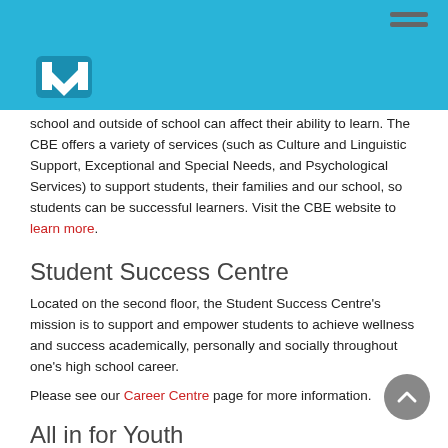CBE school navigation header with logo
school and outside of school can affect their ability to learn. The CBE offers a variety of services (such as Culture and Linguistic Support, Exceptional and Special Needs, and Psychological Services) to support students, their families and our school, so students can be successful learners. Visit the CBE website to learn more.
Student Success Centre
Located on the second floor, the Student Success Centre's mission is to support and empower students to achieve wellness and success academically, personally and socially throughout one's high school career.
Please see our Career Centre page for more information.
All in for Youth
Launched by United Way in 2012, All In for Youth provides innovative solutions to help youth stay in and complete high school. All In for Youth programs connect youth to positive adults, remove